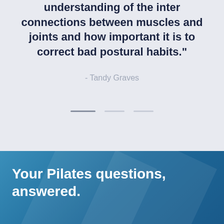understanding of the inter connections between muscles and joints and how important it is to correct bad postural habits."
- Tandy Graves
[Figure (other): Pagination dots row with three horizontal dashes indicating a carousel position indicator]
Your Pilates questions, answered.